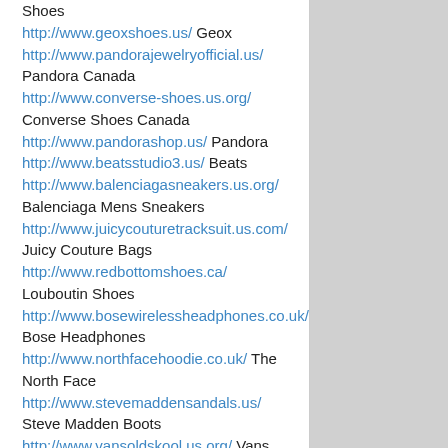Shoes
http://www.geoxshoes.us/ Geox
http://www.pandorajewelryofficial.us/ Pandora Canada
http://www.converse-shoes.us.org/ Converse Shoes Canada
http://www.pandorashop.us/ Pandora
http://www.beatsstudio3.us/ Beats
http://www.balenciagasneakers.us.org/ Balenciaga Mens Sneakers
http://www.juicycouturetracksuit.us.com/ Juicy Couture Bags
http://www.redbottomshoes.ca/ Louboutin Shoes
http://www.bosewirelessheadphones.co.uk/ Bose Headphones
http://www.northfacehoodie.co.uk/ The North Face
http://www.stevemaddensandals.us/ Steve Madden Boots
http://www.vansoldskool.us.org/ Vans Old School
http://www.ralphlaurenhoodie.org.uk/ Ralph Lauren Outlet
http://www.armanishoes.us/ Armani